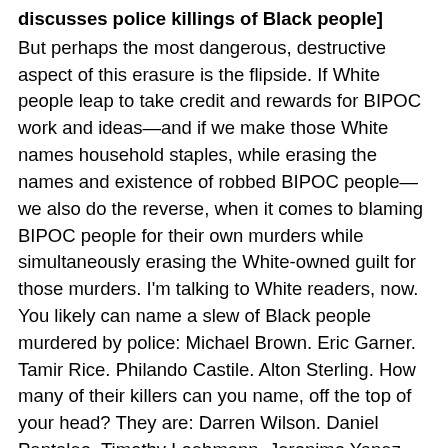discusses police killings of Black people]
But perhaps the most dangerous, destructive aspect of this erasure is the flipside. If White people leap to take credit and rewards for BIPOC work and ideas—and if we make those White names household staples, while erasing the names and existence of robbed BIPOC people—we also do the reverse, when it comes to blaming BIPOC people for their own murders while simultaneously erasing the White-owned guilt for those murders. I'm talking to White readers, now. You likely can name a slew of Black people murdered by police: Michael Brown. Eric Garner. Tamir Rice. Philando Castile. Alton Sterling. How many of their killers can you name, off the top of your head? They are: Darren Wilson. Daniel Pantaleo. Timothy Loehmann. Jeronimo Yanez. Howie Lake. Blane Salamoni. Yes, I had to look up most of those. No, they aren't all White, but their lack of mainstream name recognition still protects a White-dominant police force. None were held legally responsible for killing the above human beings. Why were their victims put on trial, their private lives plundered and exposed, by a White-dominant media and public desperate to find a reason to blame them for their own murders? Why have we (White